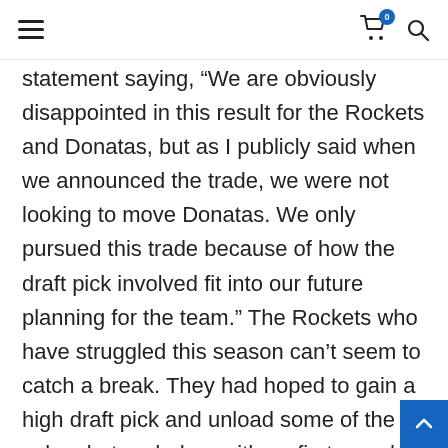[hamburger menu] [cart icon with badge 0] [search icon]
statement saying, "We are obviously disappointed in this result for the Rockets and Donatas, but as I publicly said when we announced the trade, we were not looking to move Donatas. We only pursued this trade because of how the draft pick involved fit into our future planning for the team." The Rockets who have struggled this season can't seem to catch a break. They had hoped to gain a high draft pick and unload some of the salary but ended up with no first round picks after the trade was voided. The Rockets traded their first round pick to the Denver Nuggets during the acquisition